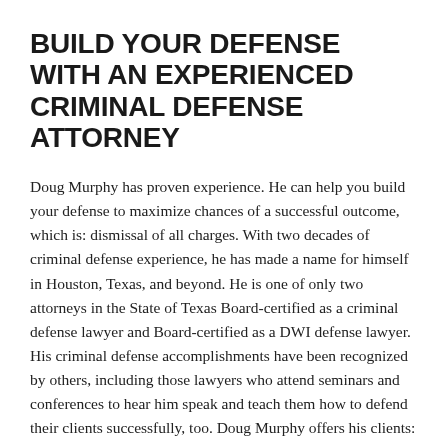BUILD YOUR DEFENSE WITH AN EXPERIENCED CRIMINAL DEFENSE ATTORNEY
Doug Murphy has proven experience. He can help you build your defense to maximize chances of a successful outcome, which is: dismissal of all charges. With two decades of criminal defense experience, he has made a name for himself in Houston, Texas, and beyond. He is one of only two attorneys in the State of Texas Board-certified as a criminal defense lawyer and Board-certified as a DWI defense lawyer. His criminal defense accomplishments have been recognized by others, including those lawyers who attend seminars and conferences to hear him speak and teach them how to defend their clients successfully, too. Doug Murphy offers his clients:
Thorough investigation of the facts, including